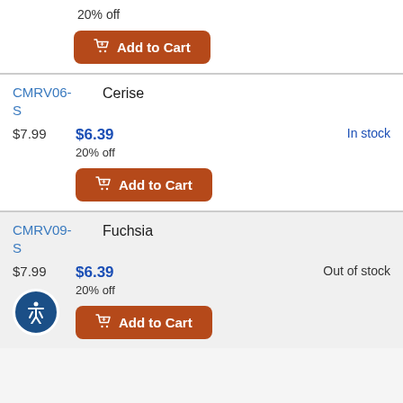20% off
Add to Cart
CMRV06-S
Cerise
$7.99
$6.39
20% off
In stock
Add to Cart
CMRV09-S
Fuchsia
$7.99
$6.39
20% off
Out of stock
Add to Cart